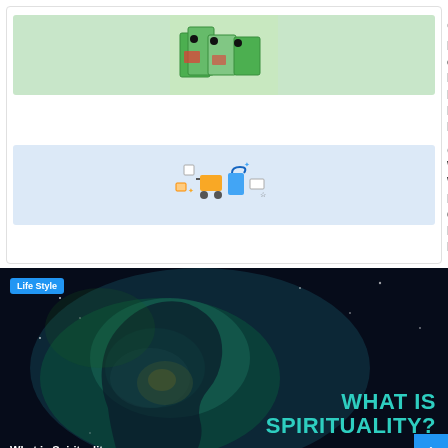[Figure (photo): Product packaging image with green-colored boxes]
September 22, 2021
Benefits of Using Display Packaging In Product Promotion
[Figure (illustration): E-commerce illustration with shopping cart, bags, and icons on blue background]
June 28, 2022
Why Woocommerce Is The Perfect Choice For Ecommerce Businesses
[Figure (photo): Dark banner image of a cosmic human head silhouette with 'WHAT IS SPIRITUALITY?' text overlay]
Life Style
What is Spirituality
[Figure (photo): Health article banner image with person in background]
Health